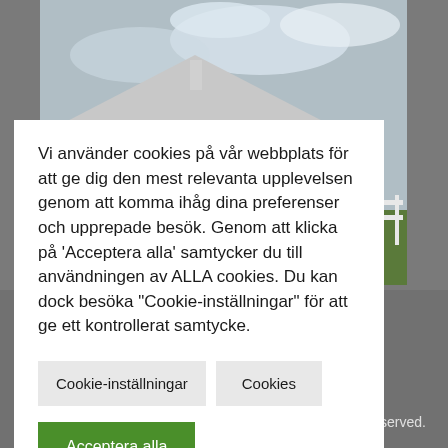[Figure (photo): A white wooden house with a grey roof photographed from outside, against a partly cloudy sky. Green trees and a white fence visible in background.]
Vi använder cookies på vår webbplats för att ge dig den mest relevanta upplevelsen genom att komma ihåg dina preferenser och upprepade besök. Genom att klicka på 'Acceptera alla' samtycker du till användningen av ALLA cookies. Du kan dock besöka 'Cookie-inställningar' för att ge ett kontrollerat samtycke.
Cookie-inställningar
Cookies
Acceptera alla
served.